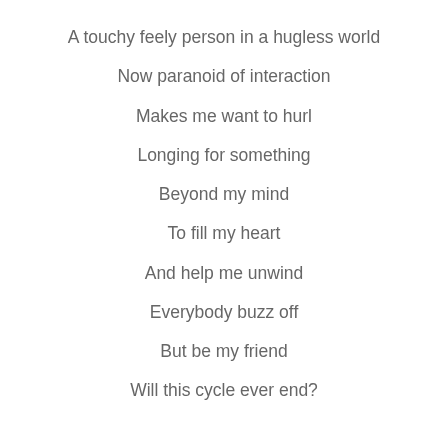A touchy feely person in a hugless world
Now paranoid of interaction
Makes me want to hurl
Longing for something
Beyond my mind
To fill my heart
And help me unwind
Everybody buzz off
But be my friend
Will this cycle ever end?